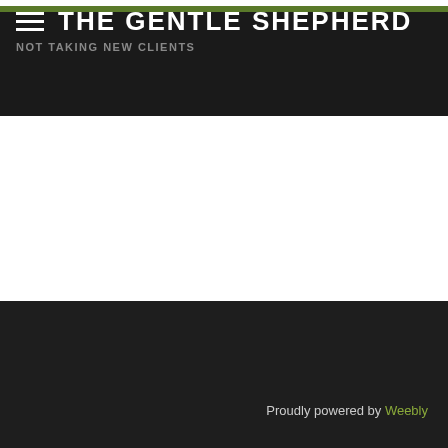THE GENTLE SHEPHERD
NOT TAKING NEW CLIENTS
Proudly powered by Weebly